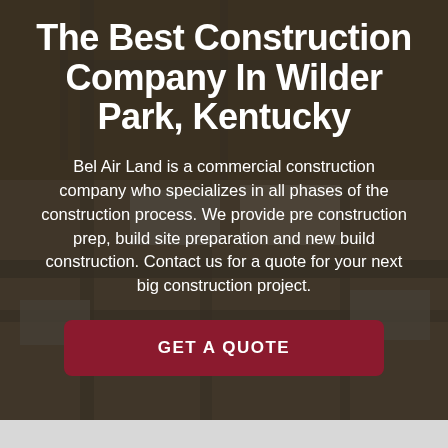[Figure (photo): Aerial view of a large commercial/industrial construction site with buildings, roads, and infrastructure, overlaid with a dark semi-transparent overlay.]
The Best Construction Company In Wilder Park, Kentucky
Bel Air Land is a commercial construction company who specializes in all phases of the construction process. We provide pre construction prep, build site preparation and new build construction. Contact us for a quote for your next big construction project.
GET A QUOTE